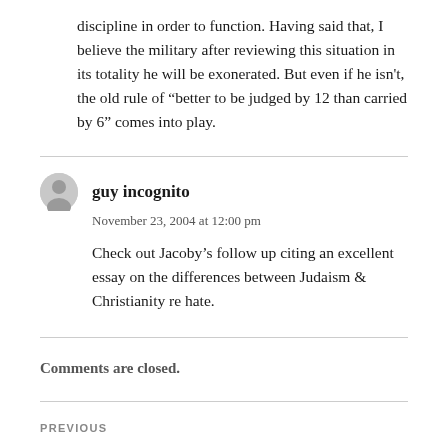discipline in order to function. Having said that, I believe the military after reviewing this situation in its totality he will be exonerated. But even if he isn't, the old rule of “better to be judged by 12 than carried by 6” comes into play.
guy incognito
November 23, 2004 at 12:00 pm
Check out Jacoby’s follow up citing an excellent essay on the differences between Judaism & Christianity re hate.
Comments are closed.
PREVIOUS